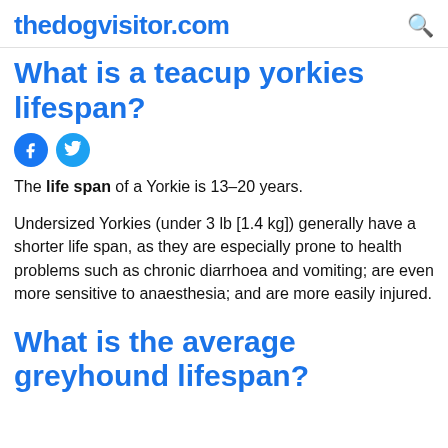thedogvisitor.com
What is a teacup yorkies lifespan?
The life span of a Yorkie is 13–20 years.
Undersized Yorkies (under 3 lb [1.4 kg]) generally have a shorter life span, as they are especially prone to health problems such as chronic diarrhoea and vomiting; are even more sensitive to anaesthesia; and are more easily injured.
What is the average greyhound lifespan?